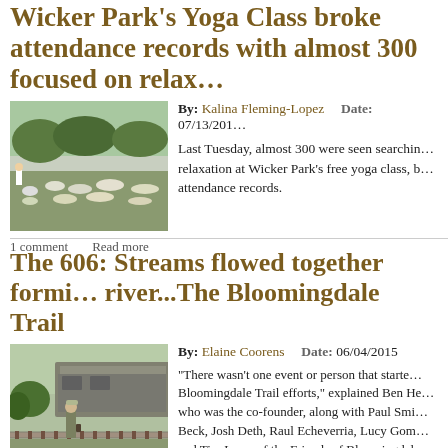Wicker Park's Yoga Class broke attendance records with almost 300 focused on relaxation
By: Kalina Fleming-Lopez   Date: 07/13/201
[Figure (photo): Outdoor yoga class in a park with many participants on mats, green trees in background]
Last Tuesday, almost 300 were seen searching for relaxation at Wicker Park's free yoga class, breaking attendance records.
1 comment   Read more
The 606: Streams flowed together forming a river...The Bloomingdale Trail
By: Elaine Coorens   Date: 06/04/2015
[Figure (photo): Man standing on railroad tracks with freight train and vegetation in background]
"There wasn't one event or person that started the Bloomingdale Trail efforts," explained Ben He- who was the co-founder, along with Paul Smi- Beck, Josh Deth, Raul Echeverria, Lucy Gom- and Tim Lane, of the Friends of Bloomingdale (FBT) in 2002. "It was like multiple streams, c- together, becoming a river."